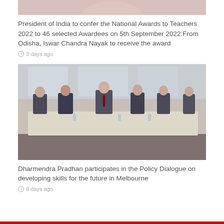[Figure (photo): Partial photo at the top of the page, cropped — appears to show a person, faded/washed out]
President of India to confer the National Awards to Teachers 2022 to 46 selected Awardees on 5th September 2022:From Odisha, Iswar Chandra Nayak to receive the award
3 days ago
[Figure (photo): Group of men in suits seated at a long conference table in a meeting room — Policy Dialogue event in Melbourne]
Dharmendra Pradhan participates in the Policy Dialogue on developing skills for the future in Melbourne
6 days ago